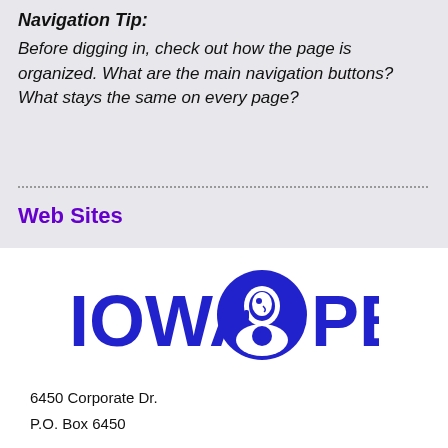Navigation Tip:
Before digging in, check out how the page is organized. What are the main navigation buttons? What stays the same on every page?
Web Sites
[Figure (logo): Iowa PBS logo — blue bold text 'IOWA PBS' with a PBS head-in-circle icon between the words]
6450 Corporate Dr.
P.O. Box 6450